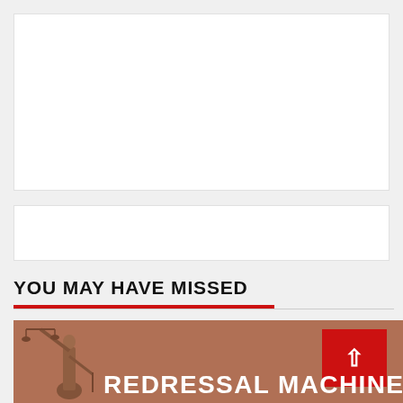[Figure (other): White rectangular placeholder box (top)]
[Figure (other): White rectangular placeholder box (middle)]
YOU MAY HAVE MISSED
[Figure (photo): Photo of Lady Justice statue on brown/terracotta background with text 'REDRESSAL MACHINER' and a red scroll-to-top button with chevron arrow]